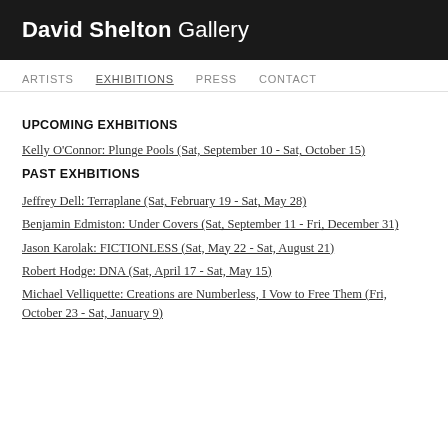David Shelton Gallery
ARTISTS   EXHIBITIONS   PRESS   CONTACT
UPCOMING EXHBITIONS
Kelly O'Connor: Plunge Pools (Sat, September 10 - Sat, October 15)
PAST EXHBITIONS
Jeffrey Dell: Terraplane (Sat, February 19 - Sat, May 28)
Benjamin Edmiston: Under Covers (Sat, September 11 - Fri, December 31)
Jason Karolak: FICTIONLESS (Sat, May 22 - Sat, August 21)
Robert Hodge: DNA (Sat, April 17 - Sat, May 15)
Michael Velliquette: Creations are Numberless, I Vow to Free Them (Fri, October 23 - Sat, January 9)